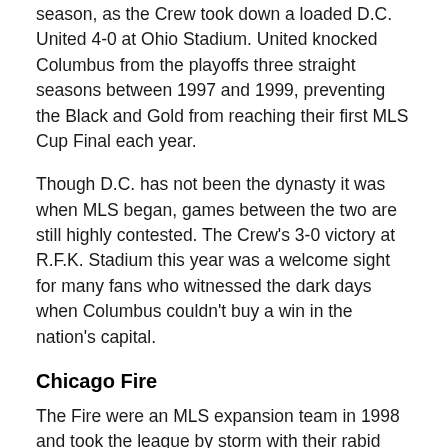season, as the Crew took down a loaded D.C. United 4-0 at Ohio Stadium. United knocked Columbus from the playoffs three straight seasons between 1997 and 1999, preventing the Black and Gold from reaching their first MLS Cup Final each year.
Though D.C. has not been the dynasty it was when MLS began, games between the two are still highly contested. The Crew's 3-0 victory at R.F.K. Stadium this year was a welcome sight for many fans who witnessed the dark days when Columbus couldn't buy a win in the nation's capital.
Chicago Fire
The Fire were an MLS expansion team in 1998 and took the league by storm with their rabid Section 8 supporters and on field success. This was a natural pairing in rivalry with both teams in the Midwest, but